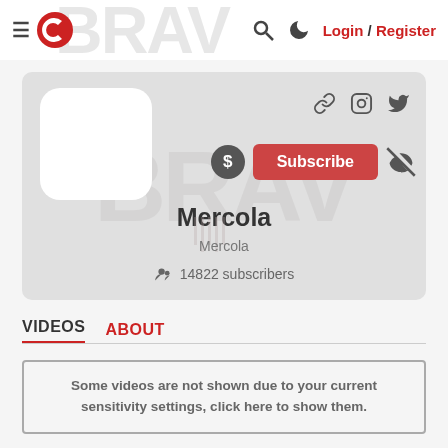≡  [logo]  🔍  🌙  Login / Register
[Figure (screenshot): Mercola channel profile card with avatar placeholder, social icons (link, Instagram, Twitter), Subscribe button, dollar icon, mute icon, channel name Mercola, handle Mercola, 14822 subscribers]
VIDEOS   ABOUT
Some videos are not shown due to your current sensitivity settings, click here to show them.